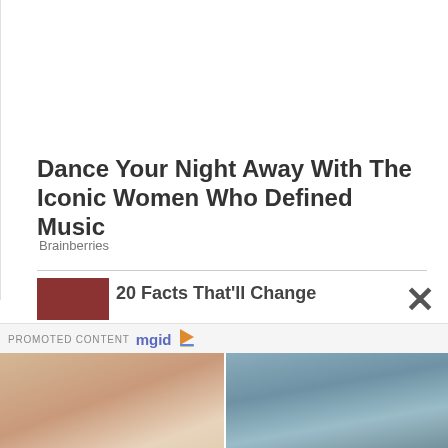Dance Your Night Away With The Iconic Women Who Defined Music
Brainberries
20 Facts That'll Change
PROMOTED CONTENT mgid ▶
[Figure (photo): Woman taking selfie in white outfit (left) and tattooed woman holding baby (right)]
5 Reasons To Try This Diet: See My Photos
[Figure (photo): Aerial photo of a highway with trees bending in hurricane-force winds]
A Hurricane Can Be As Powerful As 10 Atomic Bombs